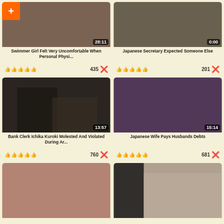[Figure (screenshot): Video thumbnail grid with 6 video cards showing titles, duration badges, thumbs up icons and dislike counts]
Swimmer Girl Felt Very Uncomfortable When Personal Physi... | 435 ✗
Japanese Secretary Expected Someone Else | 201 ✗
Bank Clerk Ichika Kuroki Molested And Violated During Ar... | 760 ✗
Japanese Wife Pays Husbands Debts | 681 ✗